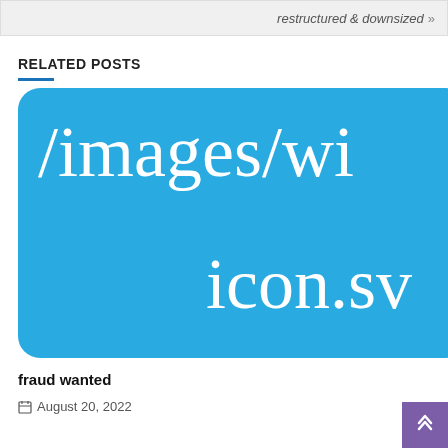restructured & downsized »
RELATED POSTS
[Figure (screenshot): Blue rounded rectangle tooltip/overlay showing broken image path text: /images/wid... icon.svg]
fraud wanted
August 20, 2022